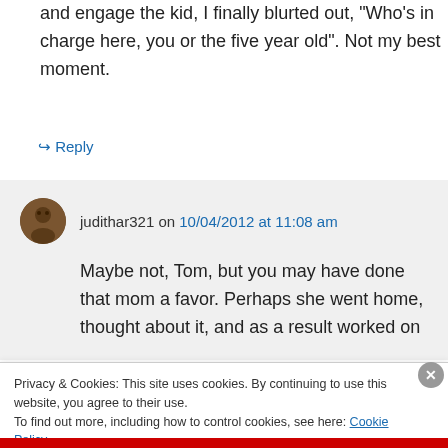and engage the kid, I finally blurted out, "Who's in charge here, you or the five year old". Not my best moment.
↪ Reply
judithar321 on 10/04/2012 at 11:08 am
Maybe not, Tom, but you may have done that mom a favor. Perhaps she went home, thought about it, and as a result worked on
Privacy & Cookies: This site uses cookies. By continuing to use this website, you agree to their use.
To find out more, including how to control cookies, see here: Cookie Policy
Close and accept